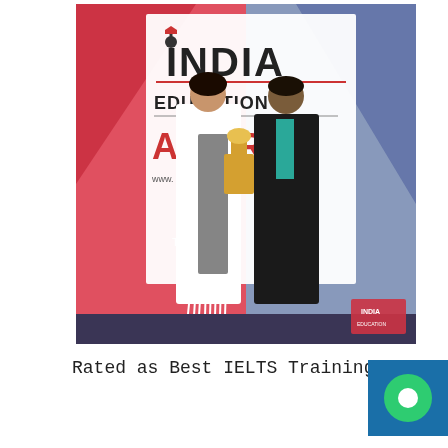[Figure (photo): Two people standing in front of an India Education Awards banner. A woman in a white dress with fringe detail holds a trophy alongside a man in a dark suit with a teal tie. The banner shows 'INDIA EDUCATION AWARDS' with a date in February and location in Bangalore.]
Rated as Best IELTS Training Institute   0%